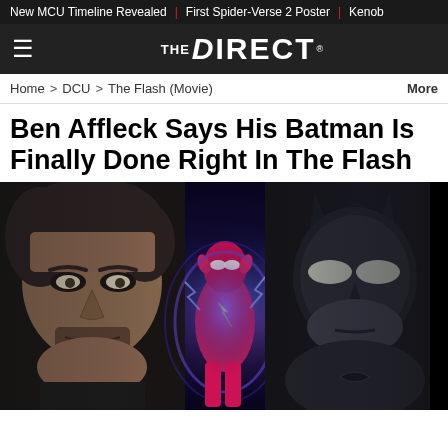New MCU Timeline Revealed | First Spider-Verse 2 Poster | Kenob
THE DIRECT
Home > DCU > The Flash (Movie)   More
Ben Affleck Says His Batman Is Finally Done Right In The Flash
[Figure (photo): Composite hero image: left side shows Ben Affleck's face in close-up against dark background; center shows The Flash character in red/pink suit with glowing blue energy effects; right side shows Batman in dark armored suit with cowl.]